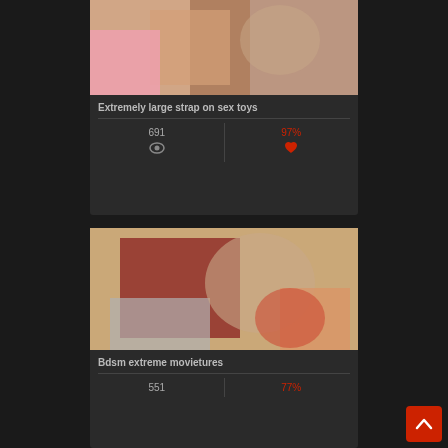[Figure (photo): Adult content thumbnail image - top card]
Extremely large strap on sex toys
691 views, 97% rating
[Figure (photo): Adult content thumbnail image - bottom card, couple embracing]
Bdsm extreme movietures
551 views, 77% rating